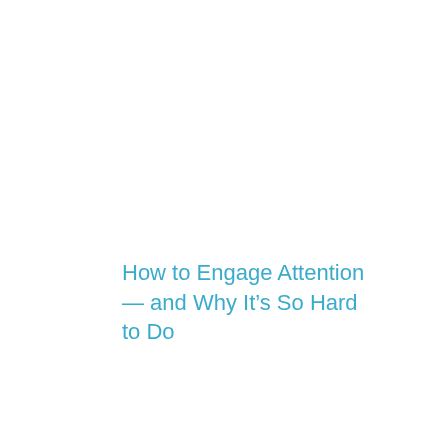How to Engage Attention — and Why It’s So Hard to Do